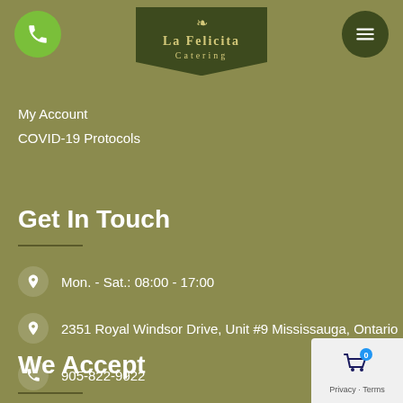[Figure (logo): La Felicita Catering logo on dark olive pentagon badge with decorative plant/leaf icon above]
My Account
COVID-19 Protocols
Get In Touch
Mon. - Sat.: 08:00 - 17:00
2351 Royal Windsor Drive, Unit #9 Mississauga, Ontario
905-822-9922
catering@lafelicita.ca
We Accept
[Figure (screenshot): Privacy widget with shopping cart icon and badge showing 0, Privacy - Terms text below]